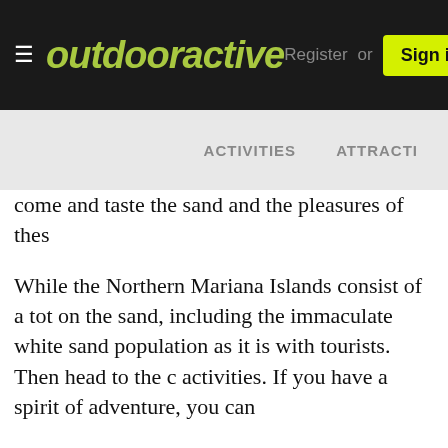outdooractive  Register  or  Sign in
ACTIVITIES   ATTRACTI
come and taste the sand and the pleasures of thes
While the Northern Mariana Islands consist of a tot on the sand, including the immaculate white sand population as it is with tourists. Then head to the c activities. If you have a spirit of adventure, you can
The resorts and country clubs of the Northern Mari starting point for the region's outdoor activities an rides and cliff fishing activities. Take a windsurfing
The historical past of the Islands, and in particular wherever you go. Archaeological sites, prehistoric n past and present. The San Vicente Fiesta and San A Chamorro and Carolinian cuisine, dance and music